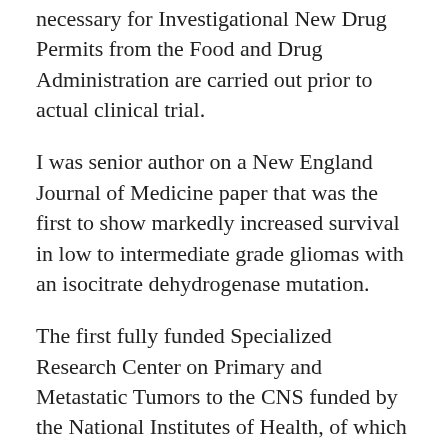necessary for Investigational New Drug Permits from the Food and Drug Administration are carried out prior to actual clinical trial.
I was senior author on a New England Journal of Medicine paper that was the first to show markedly increased survival in low to intermediate grade gliomas with an isocitrate dehydrogenase mutation.
The first fully funded Specialized Research Center on Primary and Metastatic Tumors to the CNS funded by the National Institutes of Health, of which I was Principal Investigator, was funded for 30 years at which time the type of grant was discontinued. My NCI MERIT Award, which ranked in the upper 1.2 percentile of all NIH grants at the time of its last review, is currently in its 40th year of continuous funding. It is one of the few MERIT awards awarded three consecutive times, and it is the longest continually funded grant of the NCI Division of Cancer Diagnosis and Treatment. My last